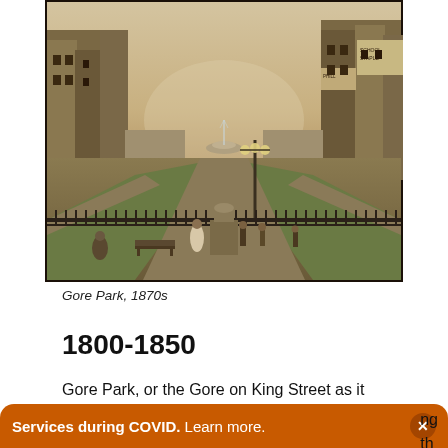[Figure (photo): Historical sepia photograph of Gore Park in Hamilton, Ontario, 1870s. Shows a park with a fountain, lamp posts, pathways, iron fencing, and Victorian-era buildings lining the street in the background.]
Gore Park, 1870s
1800-1850
Gore Park, or the Gore on King Street as it was called during the early years of its
Services during COVID. Learn more.